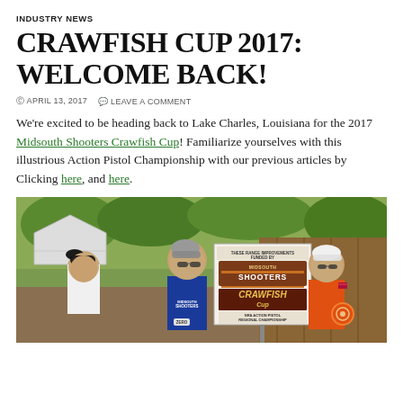INDUSTRY NEWS
CRAWFISH CUP 2017: WELCOME BACK!
© APRIL 13, 2017   💬 LEAVE A COMMENT
We're excited to be heading back to Lake Charles, Louisiana for the 2017 Midsouth Shooters Crawfish Cup! Familiarize yourselves with this illustrious Action Pistol Championship with our previous articles by Clicking here, and here.
[Figure (photo): Three men posing outdoors at a shooting range. Left man wears a white polo and black cap. Center man wears a blue Midsouth Shooters jersey and grey cap. Right man wears an orange shirt and white cap with sunglasses. A Midsouth Shooters Crawfish Cup NRA Action Pistol Regional Championship sign is visible between them.]